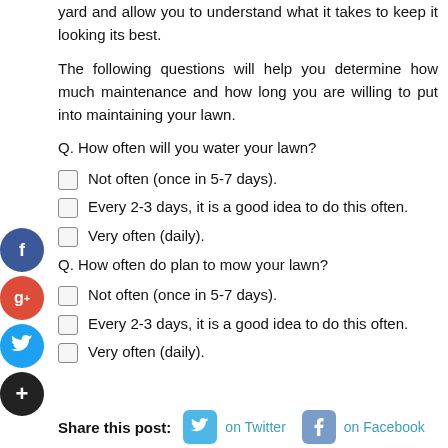yard and allow you to understand what it takes to keep it looking its best.
The following questions will help you determine how much maintenance and how long you are willing to put into maintaining your lawn.
Q. How often will you water your lawn?
Not often (once in 5-7 days).
Every 2-3 days, it is a good idea to do this often.
Very often (daily).
Q. How often do plan to mow your lawn?
Not often (once in 5-7 days).
Every 2-3 days, it is a good idea to do this often.
Very often (daily).
Share this post: on Twitter on Facebook